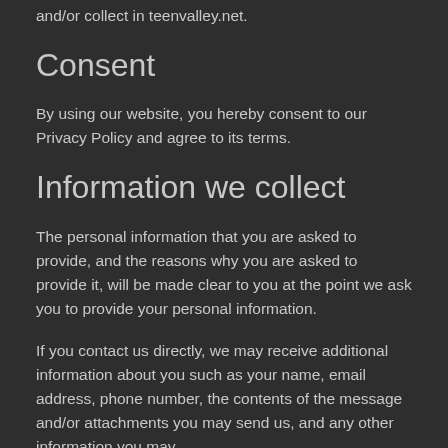and/or collect in teenvalley.net.
Consent
By using our website, you hereby consent to our Privacy Policy and agree to its terms.
Information we collect
The personal information that you are asked to provide, and the reasons why you are asked to provide it, will be made clear to you at the point we ask you to provide your personal information.
If you contact us directly, we may receive additional information about you such as your name, email address, phone number, the contents of the message and/or attachments you may send us, and any other information you may